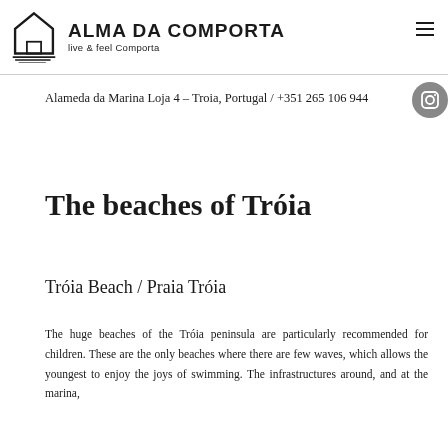ALMA DA COMPORTA live & feel Comporta
Alameda da Marina Loja 4 – Troia, Portugal / +351 265 106 944
The beaches of Tróia
Tróia Beach / Praia Tróia
The huge beaches of the Tróia peninsula are particularly recommended for children. These are the only beaches where there are few waves, which allows the youngest to enjoy the joys of swimming. The infrastructures around, and at the marina,